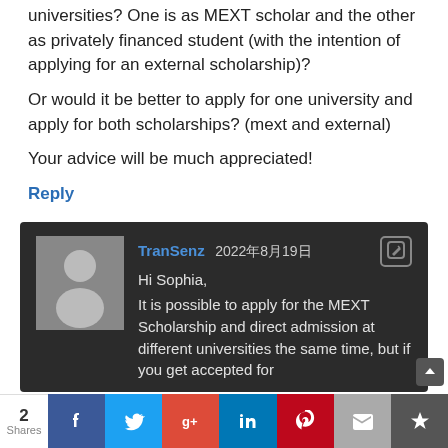universities? One is as MEXT scholar and the other as privately financed student (with the intention of applying for an external scholarship)?
Or would it be better to apply for one university and apply for both scholarships? (mext and external)
Your advice will be much appreciated!
Reply
TranSenz 2022年8月19日
Hi Sophia,
It is possible to apply for the MEXT Scholarship and direct admission at different universities the same time, but if you get accepted for